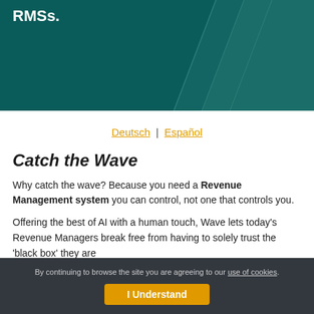RMSs.
Deutsch | Español
Catch the Wave
Why catch the wave? Because you need a Revenue Management system you can control, not one that controls you.
Offering the best of AI with a human touch, Wave lets today's Revenue Managers break free from having to solely trust the 'black box' they are
By continuing to browse the site you are agreeing to our use of cookies. I Understand